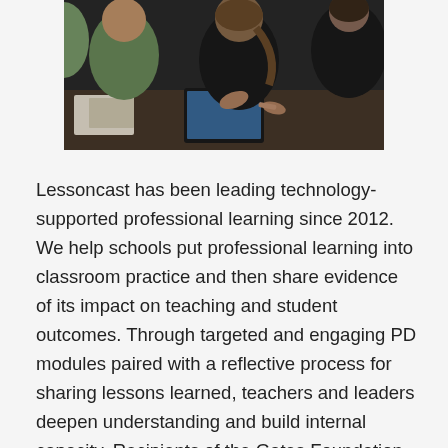[Figure (photo): Photo of teachers or students working together at a table, looking at tablets/devices, in a collaborative learning session. Multiple people visible, one prominent woman with brown ponytail in foreground.]
Lessoncast has been leading technology-supported professional learning since 2012. We help schools put professional learning into classroom practice and then share evidence of its impact on teaching and student outcomes. Through targeted and engaging PD modules paired with a reflective process for sharing lessons learned, teachers and leaders deepen understanding and build internal capacity. Recipients of the Gates Foundation – EdSurge Innovative PD Challenge and the